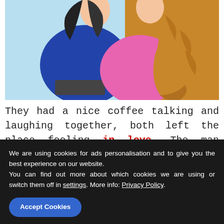[Figure (illustration): Cartoon illustration of two characters hugging or embracing, one with blue top and one with pink top and long golden hair, against a light blue and golden/orange background]
They had a nice coffee talking and laughing together, both left the place feeling in love. The man dedicated a poem to her, saying the next:
“You are my dream, you are my hope, you are a rose inside my heart”
We are using cookies for ads personalisation and to give you the best experience on our website.
You can find out more about which cookies we are using or switch them off in settings. More info: Privacy Policy.
Accept Cookies